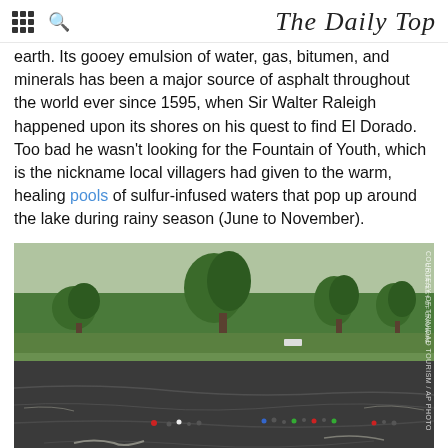The Daily Top
earth. Its gooey emulsion of water, gas, bitumen, and minerals has been a major source of asphalt throughout the world ever since 1595, when Sir Walter Raleigh happened upon its shores on his quest to find El Dorado. Too bad he wasn't looking for the Fountain of Youth, which is the nickname local villagers had given to the warm, healing pools of sulfur-infused waters that pop up around the lake during rainy season (June to November).
[Figure (photo): Aerial or wide-angle view of Pitch Lake in Trinidad showing a large dark asphalt surface with small groups of visitors/people walking on it, green vegetation and trees in the background.]